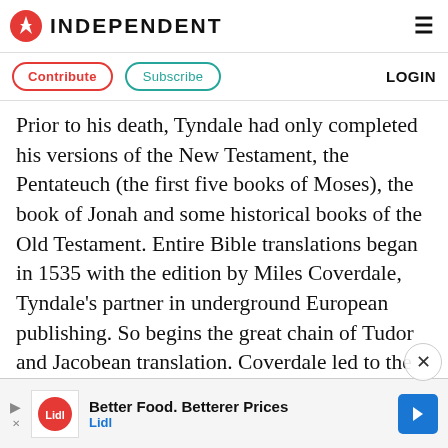INDEPENDENT
Contribute   Subscribe   LOGIN
Prior to his death, Tyndale had only completed his versions of the New Testament, the Pentateuch (the first five books of Moses), the book of Jonah and some historical books of the Old Testament. Entire Bible translations began in 1535 with the edition by Miles Coverdale, Tyndale's partner in underground European publishing. So begins the great chain of Tudor and Jacobean translation. Coverdale led to the Matthew Bible (1537), the official Great Bible (1539), the Calvinist Geneva Bible (1560), the state-sanctioned Bishops' Bible (1568), and the
[Figure (other): Lidl advertisement banner: Better Food. Betterer Prices, Lidl logo with blue navigation arrow icon]